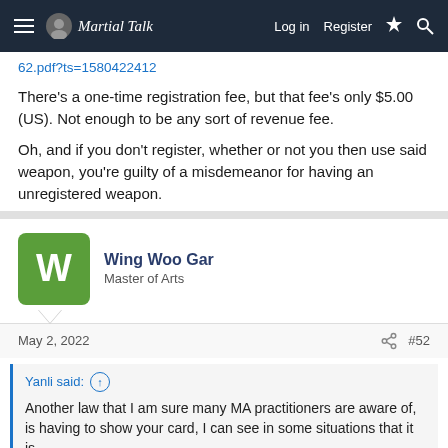Martial Talk — Log in  Register
62.pdf?ts=1580422412
There's a one-time registration fee, but that fee's only $5.00 (US). Not enough to be any sort of revenue fee.
Oh, and if you don't register, whether or not you then use said weapon, you're guilty of a misdemeanor for having an unregistered weapon.
Wing Woo Gar — Master of Arts
May 2, 2022  #52
Yanli said: ↑

Another law that I am sure many MA practitioners are aware of, is having to show your card, I can see in some situations that it is